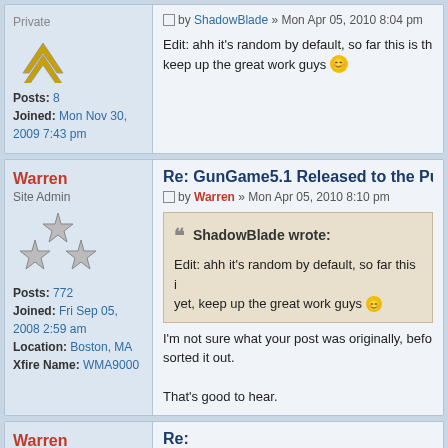Private | Posts: 8 | Joined: Mon Nov 30, 2009 7:43 pm
by ShadowBlade » Mon Apr 05, 2010 8:04 pm
Edit: ahh it's random by default, so far this is th... keep up the great work guys
Warren | Site Admin | Posts: 772 | Joined: Fri Sep 05, 2008 2:59 am | Location: Boston, MA | Xfire Name: WMA9000
Re: GunGame5.1 Released to the Pub...
by Warren » Mon Apr 05, 2010 8:10 pm
ShadowBlade wrote:
Edit: ahh it's random by default, so far this i... yet, keep up the great work guys
I'm not sure what your post was originally, befo... sorted it out.

That's good to hear.
Warren | Site Admin
Re:
by Warren » Mon Apr 05, 2010 8:50 pm